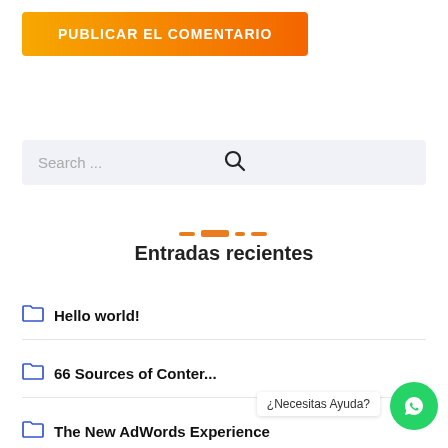[Figure (other): Orange gradient button labeled PUBLICAR EL COMENTARIO]
[Figure (other): Search bar with placeholder text 'Search ...' and magnifying glass icon]
Entradas recientes
Hello world!
66 Sources of Conter...
The New AdWords Experience
¿Necesitas Ayuda?